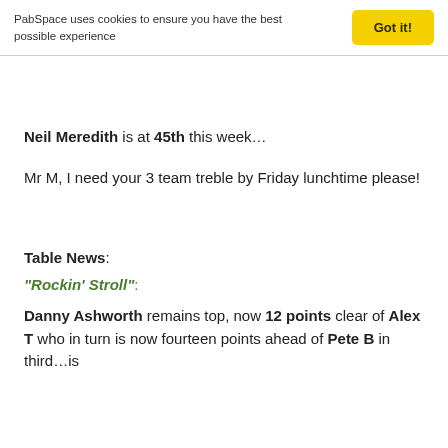PabSpace uses cookies to ensure you have the best possible experience   Got it!
Neil Meredith is at 45th this week…
Mr M, I need your 3 team treble by Friday lunchtime please!
Table News:
“Rockin’ Stroll”:
Danny Ashworth remains top, now 12 points clear of Alex T who in turn is now fourteen points ahead of Pete B in third…is